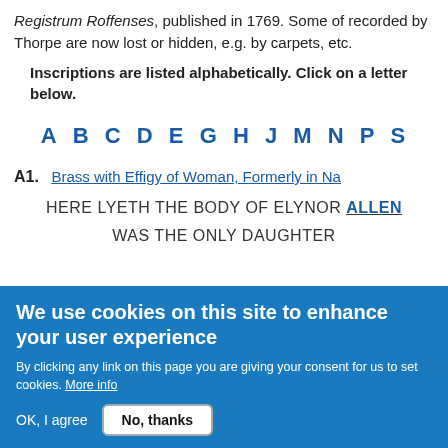Registrum Roffenses, published in 1769. Some of recorded by Thorpe are now lost or hidden, e.g. by carpets, etc.
Inscriptions are listed alphabetically. Click on a letter below.
A B C D E G H J M N P S
A1. Brass with Effigy of Woman, Formerly in Nav
HERE LYETH THE BODY OF ELYNOR ALLEN WAS THE ONLY DAUGHTER
We use cookies on this site to enhance your user experience
By clicking any link on this page you are giving your consent for us to set cookies. More info
OK, I agree   No, thanks